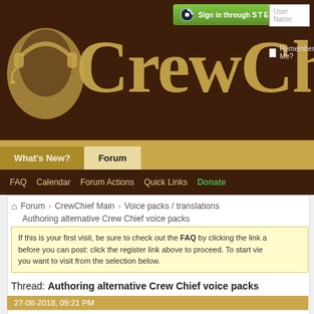[Figure (screenshot): CrewChief forum website header with dark brown background, logo image of person with headset, gold 'CrewCh' text (cropped), Steam sign-in button, User Name and Password fields, Remember Me checkbox]
Sign in through STEAM | User Name | Password | Remember Me?
What's New? | Forum
FAQ  Calendar  Forum Actions  Quick Links  Donate
Forum  CrewChief Main  Voice packs / translations
Authoring alternative Crew Chief voice packs
If this is your first visit, be sure to check out the FAQ by clicking the link a before you can post: click the register link above to proceed. To start vie you want to visit from the selection below.
Thread: Authoring alternative Crew Chief voice packs
27-08-2018, 09:21 PM
The Iron Wolf  Authoring alternative Crew